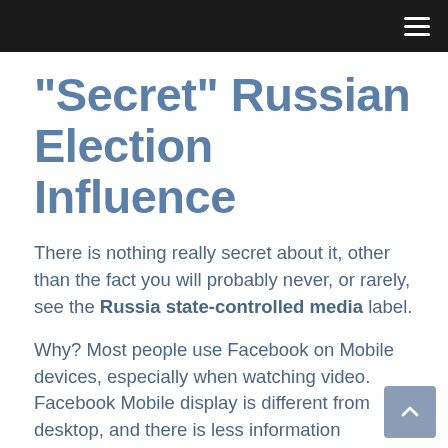“Secret” Russian Election Influence
There is nothing really secret about it, other than the fact you will probably never, or rarely, see the Russia state-controlled media label.
Why? Most people use Facebook on Mobile devices, especially when watching video. Facebook Mobile display is different from desktop, and there is less information displayed. That means, the cut the Russia state-controlled media label, making it nearly inviolable to